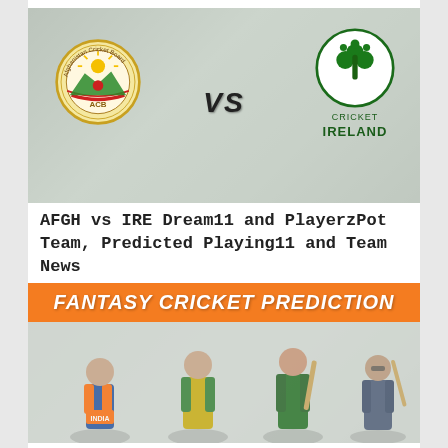[Figure (photo): Cricket match photo with Afghanistan Cricket Board (ACB) logo on left and Cricket Ireland logo on right, with VS text in the center]
AFGH vs IRE Dream11 and PlayerzPot Team, Predicted Playing11 and Team News
22nd February 2019
[Figure (photo): Fantasy Cricket Prediction banner with orange header text and cricket players from India, Australia, Pakistan teams below]